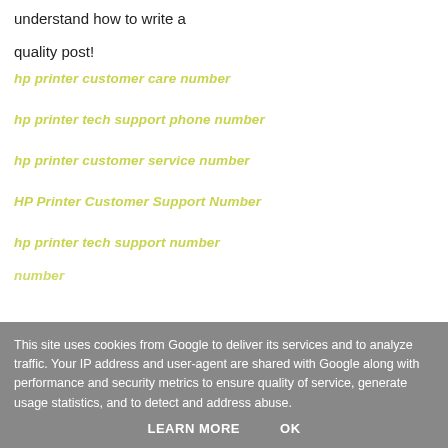understand how to write a
quality post!
hp printer customer care number
hp printer tech support phone number
hp printer customer service number
HP Printer Customer Support Number
hp printer tech support number
number
This site uses cookies from Google to deliver its services and to analyze traffic. Your IP address and user-agent are shared with Google along with performance and security metrics to ensure quality of service, generate usage statistics, and to detect and address abuse.
LEARN MORE   OK